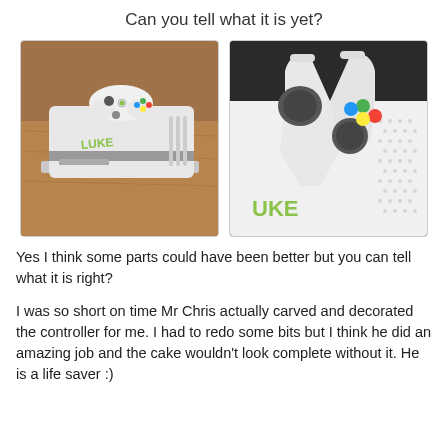Can you tell what it is yet?
[Figure (photo): Two photos side by side showing a cake shaped like an Xbox 360 console with a white controller on top, with 'LUKE' written in green letters on the side.]
Yes I think some parts could have been better but you can tell what it is right?
I was so short on time Mr Chris actually carved and decorated the controller for me. I had to redo some bits but I think he did an amazing job and the cake wouldn't look complete without it. He is a life saver :)